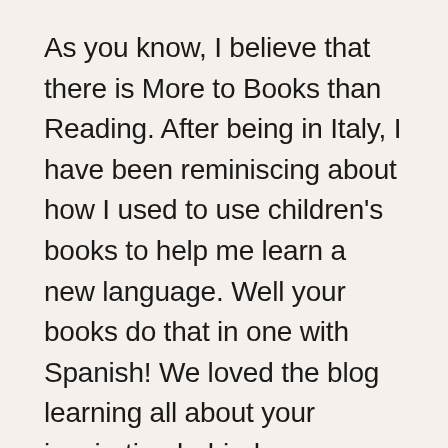As you know, I believe that there is More to Books than Reading. After being in Italy, I have been reminiscing about how I used to use children's books to help me learn a new language. Well your books do that in one with Spanish! We loved the blog learning all about your inspiration behind …
Continue reading →